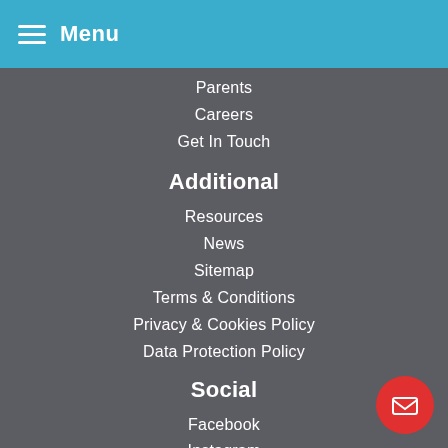Menu
Parents
Careers
Get In Touch
Additional
Resources
News
Sitemap
Terms & Conditions
Privacy & Cookies Policy
Data Protection Policy
Social
Facebook
Instagram
Contact Information